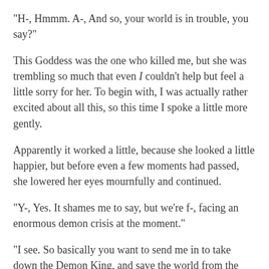“H-, Hmmm. A-, And so, your world is in trouble, you say?”
This Goddess was the one who killed me, but she was trembling so much that even I couldn’t help but feel a little sorry for her. To begin with, I was actually rather excited about all this, so this time I spoke a little more gently.
Apparently it worked a little, because she looked a little happier, but before even a few moments had passed, she lowered her eyes mournfully and continued.
“Y-, Yes. It shames me to say, but we’re f-, facing an enormous demon crisis at the moment.”
“I see. So basically you want to send me in to take down the Demon King, and save the world from the demons.”
“Eh? W-, Well, there’s no k-king or anything, but y-, yes. I w-would like to ask for your h-, help in p-purging the world of the